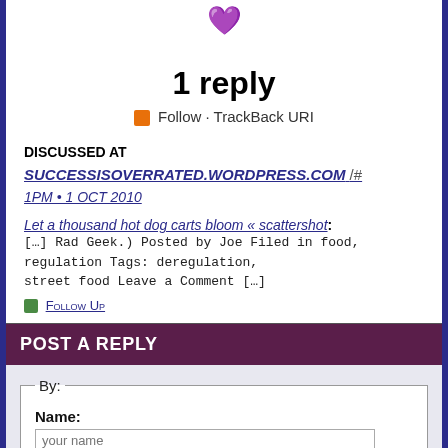[Figure (logo): Small decorative logo icon at top center]
1 reply
Follow · TrackBack URI
DISCUSSED AT
SUCCESSISOVERRATED.WORDPRESS.COM /#
1PM • 1 OCT 2010
Let a thousand hot dog carts bloom « scattershot: […] Rad Geek.) Posted by Joe Filed in food, regulation Tags: deregulation, street food Leave a Comment […]
Follow Up
POST A REPLY
By:
Name:
E-mail: